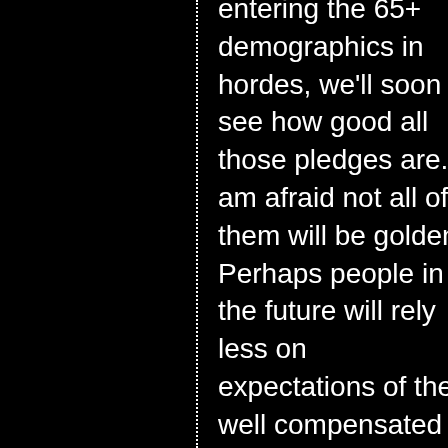entering the 65+ demographics in hordes, we'll soon see how good all those pledges are. I am afraid not all of them will be golden. Perhaps people in the future will rely less on expectations of the well compensated fund managers, and more on the good old fashioned savings. It may curtail our consumptive vigor, but it will make us